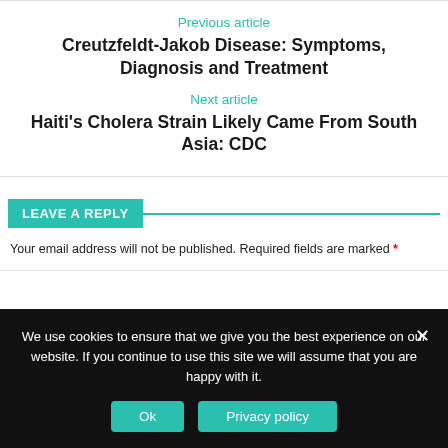Previous article
Creutzfeldt-Jakob Disease: Symptoms, Diagnosis and Treatment
Next article
Haiti's Cholera Strain Likely Came From South Asia: CDC
LEAVE A REPLY
Your email address will not be published. Required fields are marked *
We use cookies to ensure that we give you the best experience on our website. If you continue to use this site we will assume that you are happy with it.